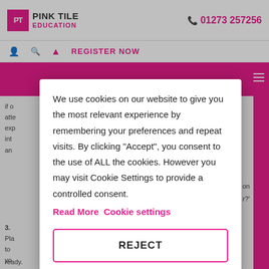PINK TILE EDUCATION  01273 257256
REGISTER NOW
[Figure (screenshot): Cookie consent modal dialog on Pink Tile Education website. Modal contains cookie notice text, Read More and Cookie settings links, and a REJECT button.]
We use cookies on our website to give you the most relevant experience by remembering your preferences and repeat visits.  By clicking "Accept", you consent to the use of ALL the cookies.  However you may visit Cookie Settings to provide a controlled consent.
Read More  Cookie settings
REJECT
ready.